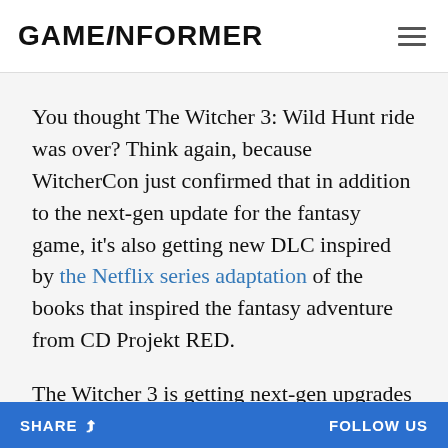GAMEINFORMER
You thought The Witcher 3: Wild Hunt ride was over? Think again, because WitcherCon just confirmed that in addition to the next-gen update for the fantasy game, it's also getting new DLC inspired by the Netflix series adaptation of the books that inspired the fantasy adventure from CD Projekt RED.
The Witcher 3 is getting next-gen upgrades for the open-world video game on PlayStation 5, Xbox Series X/S, and PC, which we've known about for a while, but what we didn't know is that there is added content to
SHARE  FOLLOW US